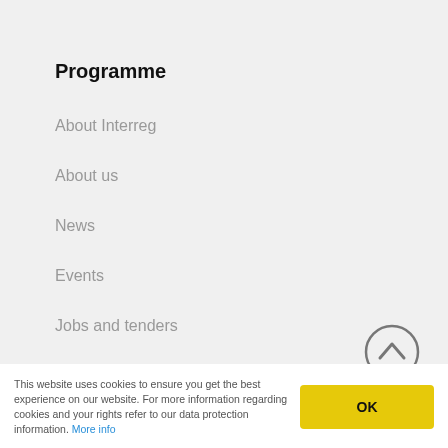Programme
About Interreg
About us
News
Events
Jobs and tenders
Contact us
[Figure (illustration): Circular scroll-up chevron button in grey outline]
This website uses cookies to ensure you get the best experience on our website. For more information regarding cookies and your rights refer to our data protection information. More info